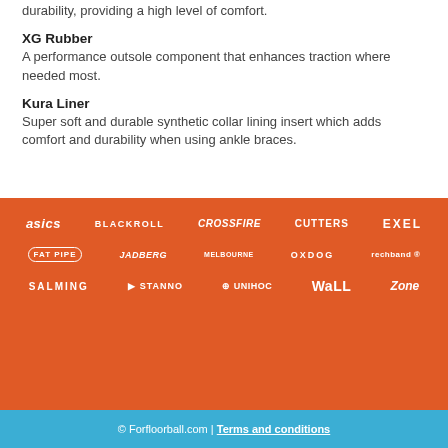durability, providing a high level of comfort.
XG Rubber
A performance outsole component that enhances traction where needed most.
Kura Liner
Super soft and durable synthetic collar lining insert which adds comfort and durability when using ankle braces.
[Figure (logo): Orange band with brand logos in 3 rows: Row 1: ASICS, BLACKROLL, Crossfire/crush, CUTTERS, EXEL. Row 2: FAT PIPE, JADBERG, Melbourne (figure), OXDOG, Rechband. Row 3: SALMING, STANNO, UNIHOC, WaLL, Zone.]
© Forfloorball.com | Terms and conditions